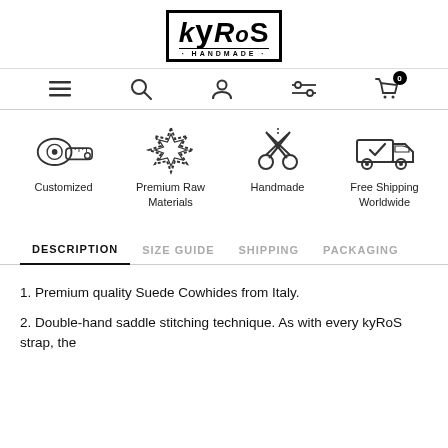[Figure (logo): kyRoS HANDMADE brand logo with decorative border]
[Figure (infographic): Navigation bar with hamburger menu, search, user, filter, and cart (0) icons]
[Figure (infographic): Four feature icons with labels: Customized (tape measure), Premium Raw Materials (leather badge), Handmade (scissors), Free Shipping Worldwide (delivery truck)]
DESCRIPTION | SIZE GUIDE | SHIPPING | PACKAGING
1. Premium quality Suede Cowhides from Italy.
2. Double-hand saddle stitching technique. As with every kyRoS strap, the